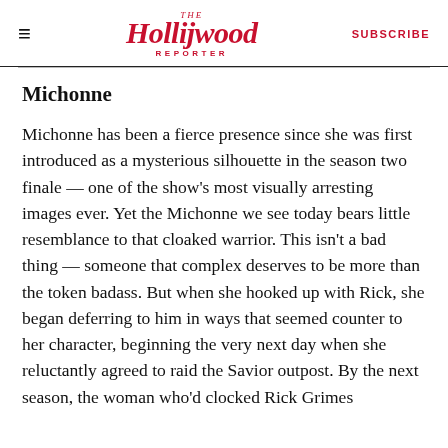≡  The Hollywood Reporter  SUBSCRIBE
Michonne
Michonne has been a fierce presence since she was first introduced as a mysterious silhouette in the season two finale — one of the show's most visually arresting images ever. Yet the Michonne we see today bears little resemblance to that cloaked warrior. This isn't a bad thing — someone that complex deserves to be more than the token badass. But when she hooked up with Rick, she began deferring to him in ways that seemed counter to her character, beginning the very next day when she reluctantly agreed to raid the Savior outpost. By the next season, the woman who'd clocked Rick Grimes